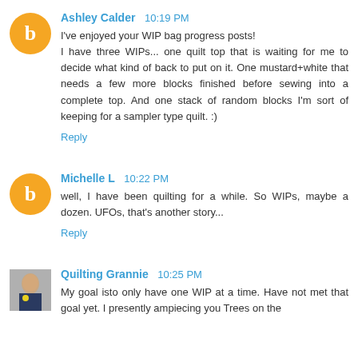Ashley Calder 10:19 PM
I've enjoyed your WIP bag progress posts!
I have three WIPs... one quilt top that is waiting for me to decide what kind of back to put on it. One mustard+white that needs a few more blocks finished before sewing into a complete top. And one stack of random blocks I'm sort of keeping for a sampler type quilt. :)
Reply
Michelle L 10:22 PM
well, I have been quilting for a while. So WIPs, maybe a dozen. UFOs, that's another story...
Reply
Quilting Grannie 10:25 PM
My goal isto only have one WIP at a time. Have not met that goal yet. I presently ampiecing you Trees on the